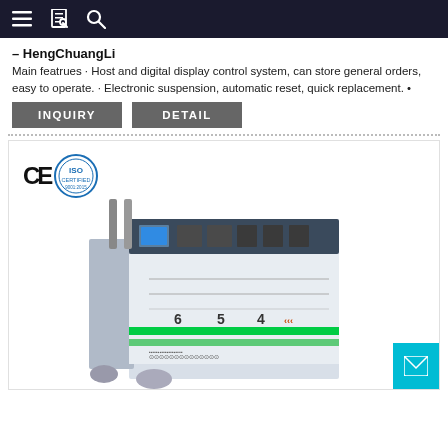Navigation bar with menu, document, and search icons
– HengChuangLi
Main featrues · Host and digital display control system, can store general orders, easy to operate. · Electronic suspension, automatic reset, quick replacement. •
INQUIRY
DETAIL
[Figure (photo): Industrial machine (likely a carton/corrugated board slotting or die-cutting machine) with CE and ISO certification logos at top left. The machine is white/grey with a green-lit control panel showing numbered slots (6, 5, 4) and a digital control interface on top.]